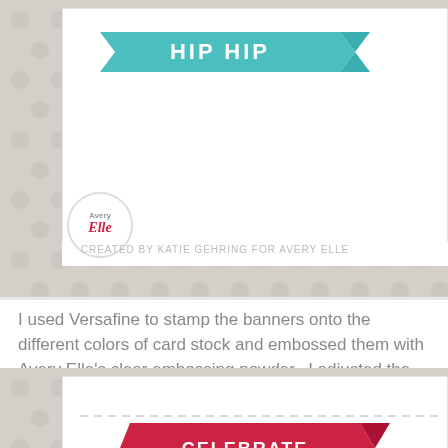[Figure (photo): Craft card photo showing a light gray polka dot background with a white card featuring a teal/turquoise banner stamp with 'HIP HIP' text. Avery Elle logo circle in bottom left, with text 'CREATED BY KATIE GEHRING FOR AVERY ELLE' in gray.]
I used Versafine to stamp the banners onto the different colors of card stock and embossed them with Avery Elle's clear embossing powder.  I adjusted the sentiments to follow the curve of the banner and stamped them onto the banners with Versafine followed by more clear embossing powder.
[Figure (photo): Craft card photo showing a light gray polka dot background with a white card featuring a red banner stamp with 'CELEBRATE' text.]